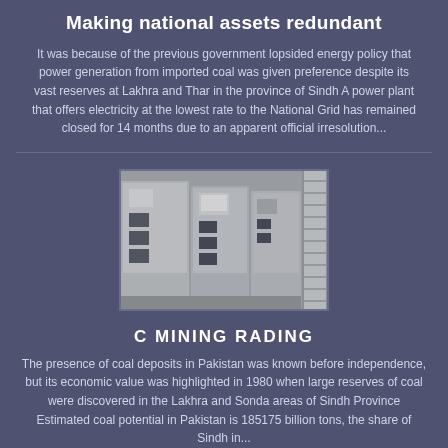Making national assets redundant
It was because of the previous government lopsided energy policy that power generation from imported coal was given preference despite its vast reserves at Lakhra and Thar in the province of Sindh A power plant that offers electricity at the lowest rate to the National Grid has remained closed for 14 months due to an apparent official irresolution...
[Figure (photo): Industrial electrical panel or switchgear equipment, grey/white cabinets with cable connections and a ladder visible on the right side]
C MINING RADING
The presence of coal deposits in Pakistan was known before independence, but its economic value was highlighted in 1980 when large reserves of coal were discovered in the Lakhra and Sonda areas of Sindh Province Estimated coal potential in Pakistan is 185175 billion tons, the share of Sindh in...